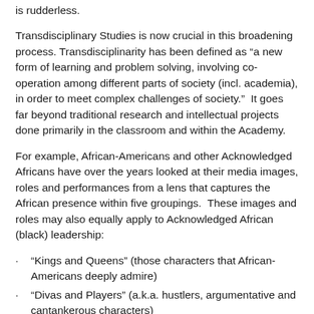is rudderless.
Transdisciplinary Studies is now crucial in this broadening process. Transdisciplinarity has been defined as “a new form of learning and problem solving, involving co-operation among different parts of society (incl. academia), in order to meet complex challenges of society.”  It goes far beyond traditional research and intellectual projects done primarily in the classroom and within the Academy.
For example, African-Americans and other Acknowledged Africans have over the years looked at their media images, roles and performances from a lens that captures the African presence within five groupings.  These images and roles may also equally apply to Acknowledged African (black) leadership:
“Kings and Queens” (those characters that African-Americans deeply admire)
“Divas and Players” (a.k.a. hustlers, argumentative and cantankerous characters)
“Self-haters and Villains” (a cross between Donald Bogle’s “Uncle